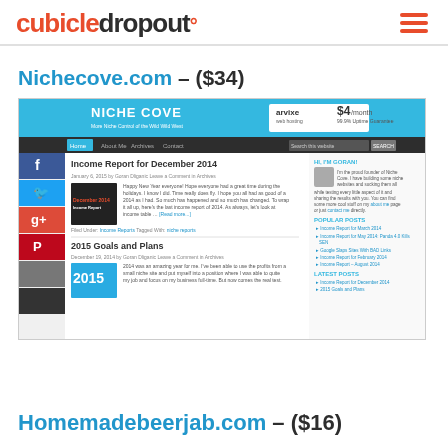cubicledropout°
Nichecove.com – ($34)
[Figure (screenshot): Screenshot of NicheCove.com website showing Income Report for December 2014 blog post, 2015 Goals and Plans post, sidebar with Hi I'm Goran section, Popular Posts and Latest Posts, with Arvixe web hosting advertisement in header]
Homemadebeerjab.com – ($16)